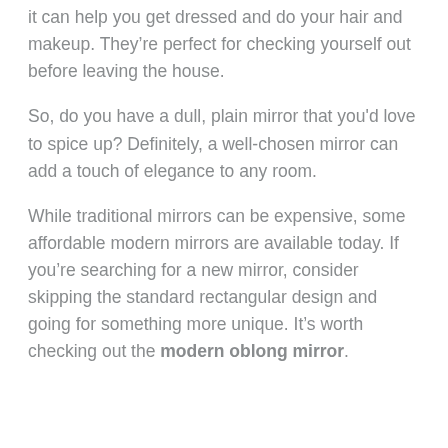it can help you get dressed and do your hair and makeup. They’re perfect for checking yourself out before leaving the house.
So, do you have a dull, plain mirror that you'd love to spice up? Definitely, a well-chosen mirror can add a touch of elegance to any room.
While traditional mirrors can be expensive, some affordable modern mirrors are available today. If you’re searching for a new mirror, consider skipping the standard rectangular design and going for something more unique. It’s worth checking out the modern oblong mirror.